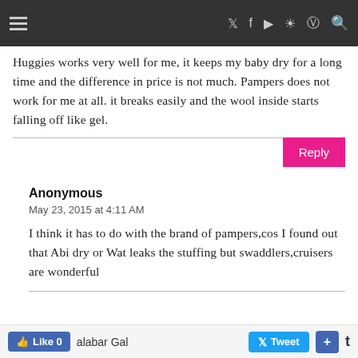Navigation bar with hamburger menu and social icons
Huggies works very well for me, it keeps my baby dry for a long time and the difference in price is not much. Pampers does not work for me at all. it breaks easily and the wool inside starts falling off like gel.
Anonymous
May 23, 2015 at 4:11 AM
I think it has to do with the brand of pampers,cos I found out that Abi dry or Wat leaks the stuffing but swaddlers,cruisers are wonderful
Like 0  Malabar Gal  Tweet  +  t